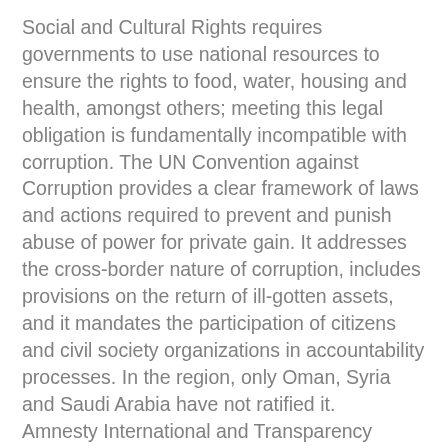Social and Cultural Rights requires governments to use national resources to ensure the rights to food, water, housing and health, amongst others; meeting this legal obligation is fundamentally incompatible with corruption. The UN Convention against Corruption provides a clear framework of laws and actions required to prevent and punish abuse of power for private gain. It addresses the cross-border nature of corruption, includes provisions on the return of ill-gotten assets, and it mandates the participation of citizens and civil society organizations in accountability processes. In the region, only Oman, Syria and Saudi Arabia have not ratified it. Amnesty International and Transparency International urged the international community, including all companies doing business in the Middle East and North Africa, to support local reform efforts, and to actively promote human rights and an end to the looting of national resources and income. Human rights and the fight against corruption go hand-in-hand. Already some former leading Egyptian and Tunisian officials are facing prosecution or investigation for corruption. Amnesty International and Transparency International urge that those found to have committed human rights violations